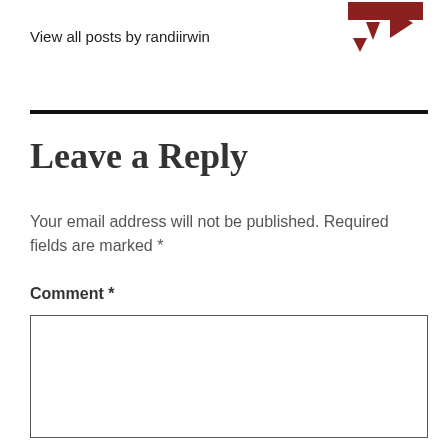View all posts by randiirwin
[Figure (logo): Red geometric logo with triangles and arrows in top right corner]
Leave a Reply
Your email address will not be published. Required fields are marked *
Comment *